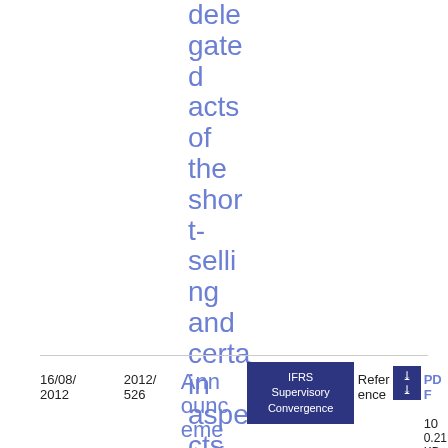delegated acts of the short-selling and certain aspects of CDS
| Date | Ref | Title | Category | Reference |  |  |
| --- | --- | --- | --- | --- | --- | --- |
| 16/08/2012 | 2012/526 | Announcement of cour... | IFRS Supervisory Convergence | Reference | PDF | 10
0.21 KB |